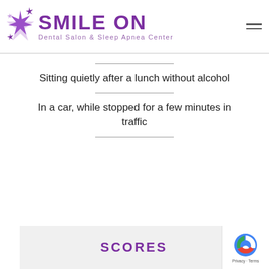[Figure (logo): Smile On Dental Salon & Sleep Apnea Center logo with purple sparkle/diamond star icons and purple text]
Sitting quietly after a lunch without alcohol
In a car, while stopped for a few minutes in traffic
SCORES